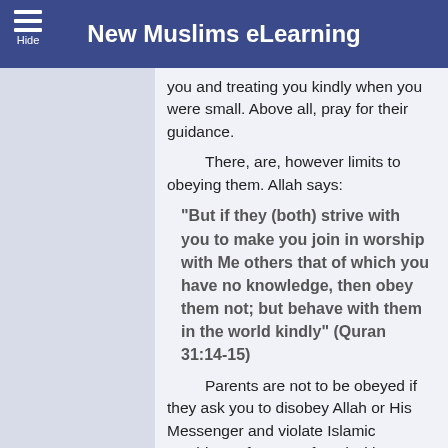New Muslims eLearning
you and treating you kindly when you were small. Above all, pray for their guidance.
There, are, however limits to obeying them. Allah says:
“But if they (both) strive with you to make you join in worship with Me others that of which you have no knowledge, then obey them not; but behave with them in the world kindly” (Quran 31:14-15)
Parents are not to be obeyed if they ask you to disobey Allah or His Messenger and violate Islamic teachings. If you are faced with a situation in which...